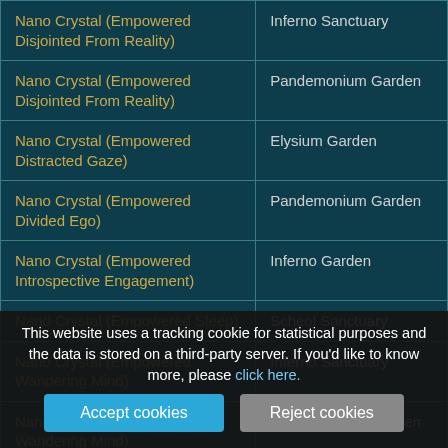| Item | Location |
| --- | --- |
| Nano Crystal (Empowered Disjointed From Reality) | Inferno Sanctuary |
| Nano Crystal (Empowered Disjointed From Reality) | Pandemonium Garden |
| Nano Crystal (Empowered Distracted Gaze) | Elysium Garden |
| Nano Crystal (Empowered Divided Ego) | Pandemonium Garden |
| Nano Crystal (Empowered Introspective Engagement) | Inferno Garden |
| Nano Crystal (Empowered Sleep) | Scheol Sanctuary |
| Nano Crystal (Empowered Wandering Mind) | Inferno Sanctuary |
| Nano Crystal (Empowered Wandering Mind) | Pandemonium Garden |
This website uses a tracking cookie for statistical purposes and the data is stored on a third-party server. If you'd like to know more, please click here.